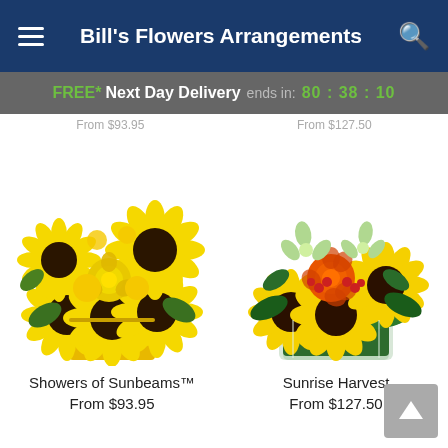Bill's Flowers Arrangements
FREE* Next Day Delivery ends in: 80:38:10
From $93.95   From $127.50
[Figure (photo): Showers of Sunbeams arrangement: yellow sunflowers, yellow roses, and yellow chrysanthemums in a yellow square vase]
Showers of Sunbeams™
From $93.95
[Figure (photo): Sunrise Harvest arrangement: sunflowers, orange roses, green orchids, and red berries in a green glass cube vase]
Sunrise Harvest
From $127.50